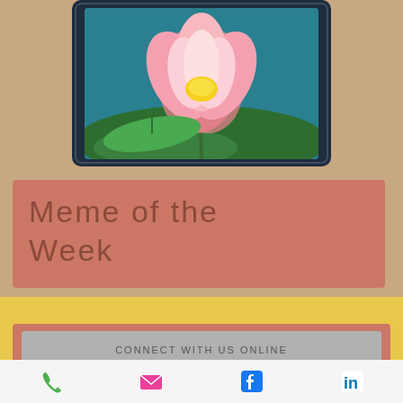[Figure (photo): A pink lotus flower on a tablet device screen, shown on a tan/beige background]
Meme of the Week
© 2013-2023 by Tapestries| RVA | alesia@tapestriesgrief.com
CONNECT WITH US ONLINE